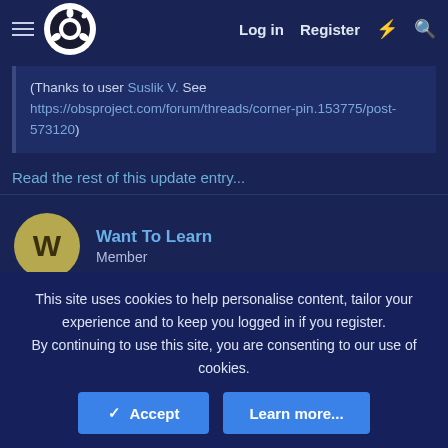OBS Project Forum — Log in | Register
(Thanks to user Suslik V. See https://obsproject.com/forum/threads/corner-pin.153775/post-573120)
Read the rest of this update entry...
Want To Learn
Member
This site uses cookies to help personalise content, tailor your experience and to keep you logged in if you register.
By continuing to use this site, you are consenting to our use of cookies.